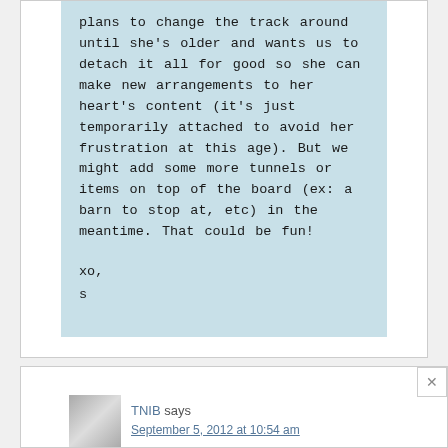plans to change the track around until she's older and wants us to detach it all for good so she can make new arrangements to her heart's content (it's just temporarily attached to avoid her frustration at this age). But we might add some more tunnels or items on top of the board (ex: a barn to stop at, etc) in the meantime. That could be fun!

xo,
s
TNIB says
September 5, 2012 at 10:54 am